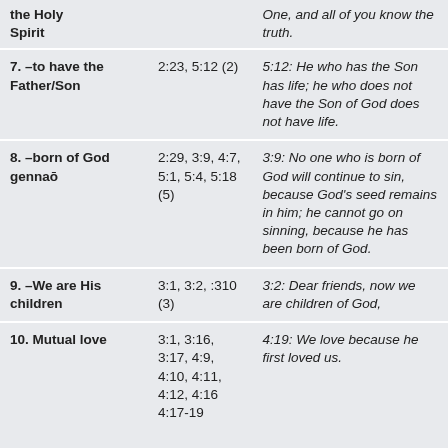| Topic | References | Key Verse |
| --- | --- | --- |
| the Holy Spirit |  | One, and all of you know the truth. |
| 7. –to have the Father/Son | 2:23, 5:12 (2) | 5:12: He who has the Son has life; he who does not have the Son of God does not have life. |
| 8. –born of God gennaō | 2:29, 3:9, 4:7, 5:1, 5:4, 5:18 (5) | 3:9: No one who is born of God will continue to sin, because God's seed remains in him; he cannot go on sinning, because he has been born of God. |
| 9. –We are His children | 3:1, 3:2, :310 (3) | 3:2: Dear friends, now we are children of God, |
| 10. Mutual love | 3:1, 3:16, 3:17, 4:9, 4:10, 4:11, 4:12, 4:16, 4:17-19 | 4:19: We love because he first loved us. |